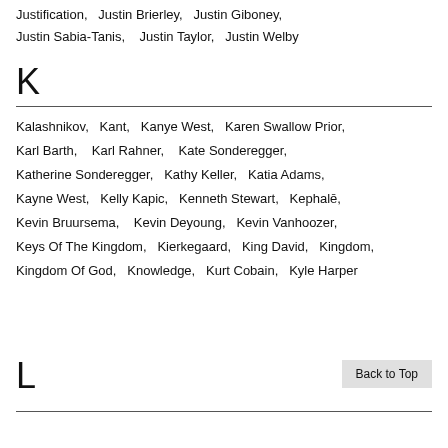Justification,  Justin Brierley,  Justin Giboney,  Justin Sabia-Tanis,  Justin Taylor,  Justin Welby
K
Kalashnikov,  Kant,  Kanye West,  Karen Swallow Prior,  Karl Barth,  Karl Rahner,  Kate Sonderegger,  Katherine Sonderegger,  Kathy Keller,  Katia Adams,  Kayne West,  Kelly Kapic,  Kenneth Stewart,  Kephalē,  Kevin Bruursema,  Kevin Deyoung,  Kevin Vanhoozer,  Keys Of The Kingdom,  Kierkegaard,  King David,  Kingdom,  Kingdom Of God,  Knowledge,  Kurt Cobain,  Kyle Harper
L
Back to Top